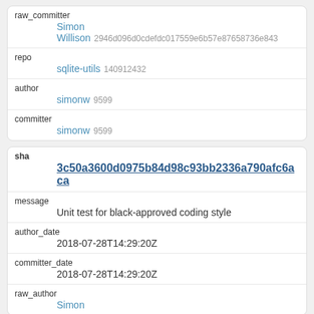| raw_committer | Simon Willison 2946d096d0cdefdc017559e6b57e87658736e843 |
| repo | sqlite-utils 140912432 |
| author | simonw 9599 |
| committer | simonw 9599 |
| sha | 3c50a3600d0975b84d98c93bb2336a790afc6aca |
| message | Unit test for black-approved coding style |
| author_date | 2018-07-28T14:29:20Z |
| committer_date | 2018-07-28T14:29:20Z |
| raw_author | Simon |